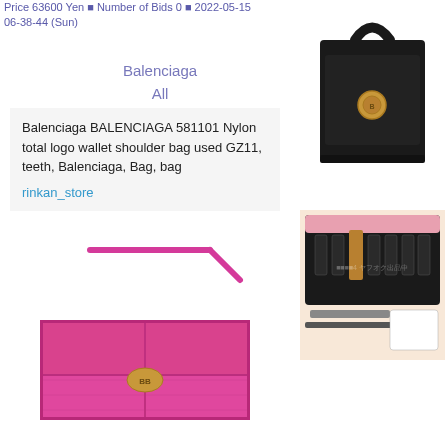Price 63600 Yen ■ Number of Bids 0 ■ 2022-05-15 06-38-44 (Sun)
Balenciaga
All
Balenciaga BALENCIAGA 581101 Nylon total logo wallet shoulder bag used GZ11, teeth, Balenciaga, Bag, bag
rinkan_store
[Figure (photo): Pink Balenciaga nylon logo shoulder wallet bag with gold hardware]
[Figure (photo): Black Balenciaga structured top-handle handbag with gold clasp]
[Figure (photo): Black Balenciaga cosmetics/grooming kit with accessories spread out]